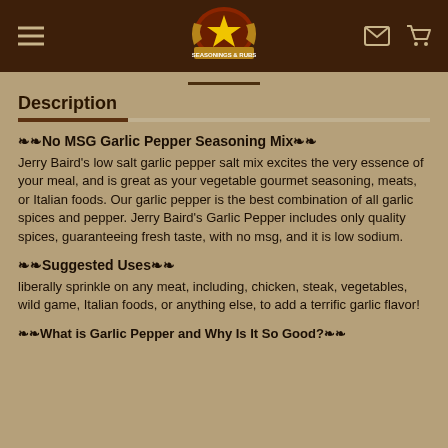[Logo: Jerry Baird's Seasonings & Rubs]
Description
❧❧No MSG Garlic Pepper Seasoning Mix❧❧
Jerry Baird's low salt garlic pepper salt mix excites the very essence of your meal, and is great as your vegetable gourmet seasoning, meats, or Italian foods. Our garlic pepper is the best combination of all garlic spices and pepper. Jerry Baird's Garlic Pepper includes only quality spices, guaranteeing fresh taste, with no msg, and it is low sodium.
❧❧Suggested Uses❧❧
liberally sprinkle on any meat, including, chicken, steak, vegetables, wild game, Italian foods, or anything else, to add a terrific garlic flavor!
❧❧What is Garlic Pepper and Why Is It So Good?❧❧